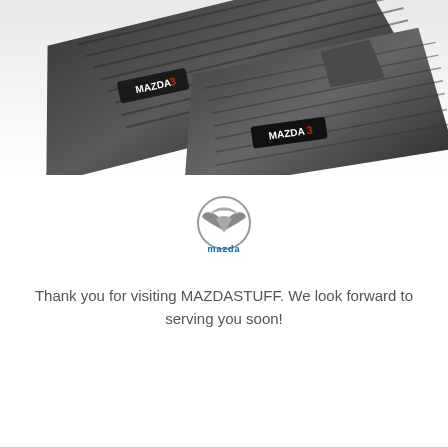[Figure (photo): Photo of black Mazda3 branded rubber car floor mats, two mats stacked/overlapping at an angle showing the Mazda3 logo embossed on each mat]
[Figure (logo): Mazda logo: circular silver winged emblem above the word 'mazda' in blue text]
Thank you for visiting MAZDASTUFF. We look forward to serving you soon!